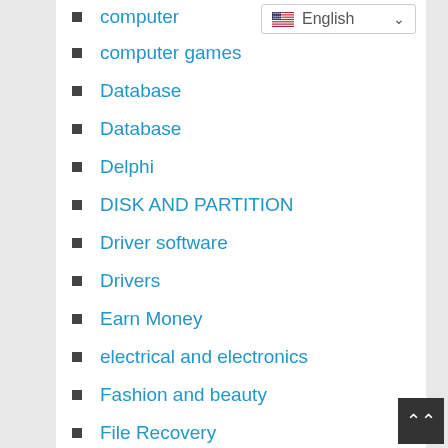computer
computer games
Database
Database
Delphi
DISK AND PARTITION
Driver software
Drivers
Earn Money
electrical and electronics
Fashion and beauty
File Recovery
Forex Trading
format converter
games